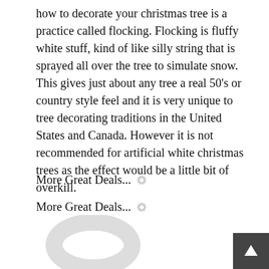how to decorate your christmas tree is a practice called flocking. Flocking is fluffy white stuff, kind of like silly string that is sprayed all over the tree to simulate snow. This gives just about any tree a real 50’s or country style feel and it is very unique to tree decorating traditions in the United States and Canada. However it is not recommended for artificial white christmas trees as the effect would be a little bit of overkill.
More Great Deals...
More Great Deals...
More Great Deals...
Shop Now
[Figure (photo): White circular ring light product photo on white background]
[Figure (photo): Purple glowing fiber optic or LED light display on black background]